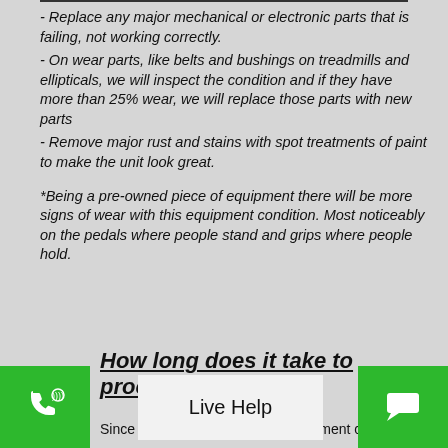- Replace any major mechanical or electronic parts that is failing, not working correctly.
- On wear parts, like belts and bushings on treadmills and ellipticals, we will inspect the condition and if they have more than 25% wear, we will replace those parts with new parts
- Remove major rust and stains with spot treatments of paint to make the unit look great.
*Being a pre-owned piece of equipment there will be more signs of wear with this equipment condition. Most noticeably on the pedals where people stand and grips where people hold.
How long does it take to process my order?
Since we have three different equipment conditions to